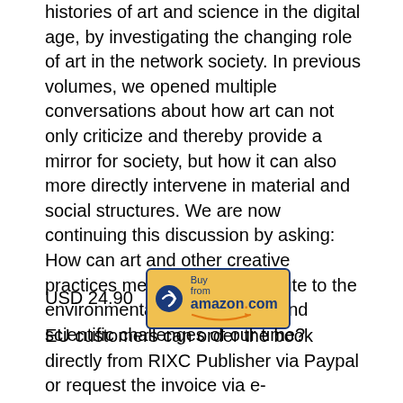histories of art and science in the digital age, by investigating the changing role of art in the network society. In previous volumes, we opened multiple conversations about how art can not only criticize and thereby provide a mirror for society, but how it can also more directly intervene in material and social structures. We are now continuing this discussion by asking: How can art and other creative practices meaningfully contribute to the environmental, technological and scientific challenges of our time?
USD 24.90  [Buy from amazon.com button]
EU customers can order the book directly from RIXC Publisher via Paypal or request the invoice via e-